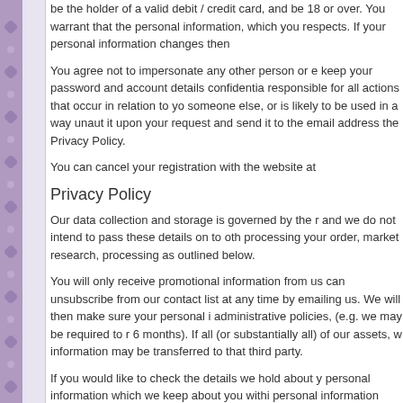be the holder of a valid debit / credit card, and be 18 or over. You warrant that the personal information, which you respects. If your personal information changes then
You agree not to impersonate any other person or e keep your password and account details confidentia responsible for all actions that occur in relation to yo someone else, or is likely to be used in a way unaut it upon your request and send it to the email address the Privacy Policy.
You can cancel your registration with the website at
Privacy Policy
Our data collection and storage is governed by the r and we do not intend to pass these details on to oth processing your order, market research, processing as outlined below.
You will only receive promotional information from us can unsubscribe from our contact list at any time by emailing us. We will then make sure your personal i administrative policies, (e.g. we may be required to r 6 months). If all (or substantially all) of our assets, w information may be transferred to that third party.
If you would like to check the details we hold about y personal information which we keep about you withi personal information must be received by us in writi to provide this information to you. If you have a con
Payment
By providing us with details of the payment card an